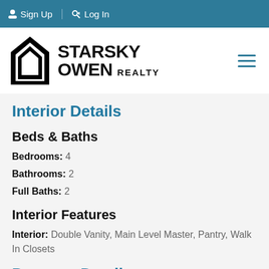Sign Up  Log In
[Figure (logo): Starsky Owen Realty logo with house icon and hamburger menu]
Interior Details
Beds & Baths
Bedrooms:  4
Bathrooms:  2
Full Baths:  2
Interior Features
Interior:  Double Vanity, Main Level Master, Pantry, Walk In Closets
Property Details